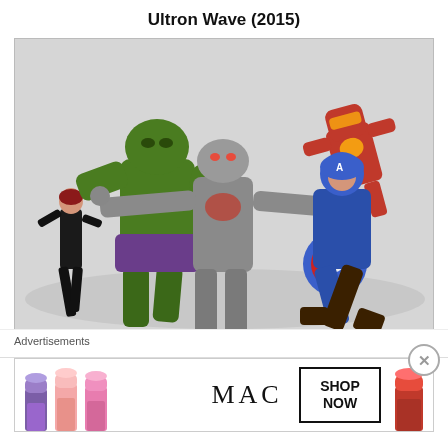Ultron Wave (2015)
[Figure (photo): Action figures of Marvel Avengers characters: Black Widow, Hulk, Ultron (center, silver), Iron Man (upper right), and Captain America (right), posed against a white background.]
Ant Man
Advertisements
[Figure (photo): MAC Cosmetics advertisement banner featuring lipsticks in purple, pink, and red shades, MAC logo, and a 'SHOP NOW' button box.]